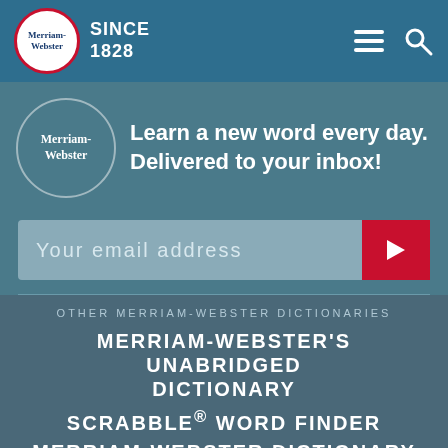Merriam-Webster SINCE 1828
[Figure (logo): Merriam-Webster logo with red circle border and text, next to 'SINCE 1828' text, with hamburger menu and search icon on the right]
Learn a new word every day. Delivered to your inbox!
Your email address
OTHER MERRIAM-WEBSTER DICTIONARIES
MERRIAM-WEBSTER'S UNABRIDGED DICTIONARY
SCRABBLE® WORD FINDER
MERRIAM-WEBSTER DICTIONARY API
NGLISH - SPANISH-ENGLISH TRANSLATION
BRITANNICA ENGLISH - ARABIC TRANSLATION